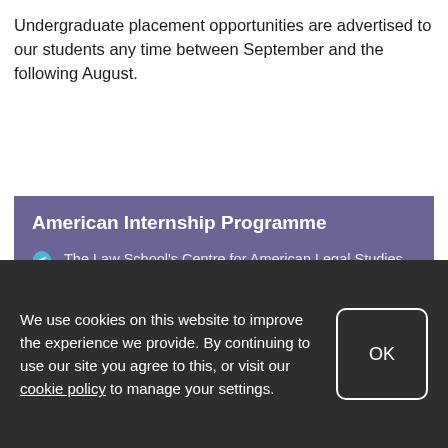Undergraduate placement opportunities are advertised to our students any time between September and the following August.
American Internship Programme
The Law School's Centre for American Legal Studies operates the UK's largest student internship programme to the USA. The programme was established in 1994 and to date we have placed over 500 students in Federal and State Public Defender offices, private attorney offices, American University Law Schools, law projects and organisations across the USA, from New York City to West Texas and
We use cookies on this website to improve the experience we provide. By continuing to use our site you agree to this, or visit our cookie policy to manage your settings.